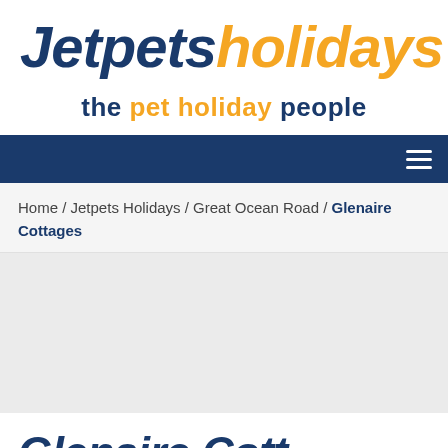[Figure (logo): Jetpets Holidays logo with 'Jetpets' in dark blue italic bold and 'holidays' in orange italic bold]
the pet holiday people
[Figure (other): Dark blue navigation bar with hamburger menu icon on the right]
Home / Jetpets Holidays / Great Ocean Road / Glenaire Cottages
Glenaire Cott...